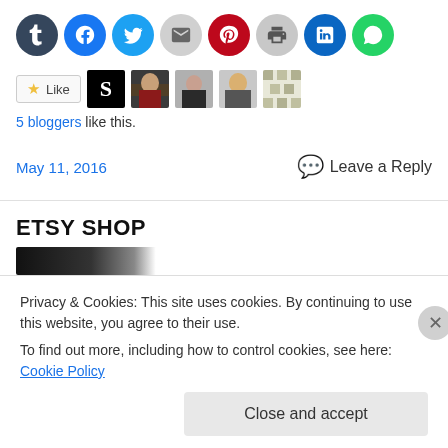[Figure (infographic): Row of 8 circular social share buttons: Tumblr (dark slate), Facebook (blue), Twitter (light blue), Email (grey), Pinterest (red), Print (grey), LinkedIn (teal), WhatsApp (green)]
[Figure (infographic): Like button with star icon, followed by 5 blogger avatar thumbnails]
5 bloggers like this.
May 11, 2016
Leave a Reply
ETSY SHOP
Privacy & Cookies: This site uses cookies. By continuing to use this website, you agree to their use.
To find out more, including how to control cookies, see here: Cookie Policy
Close and accept